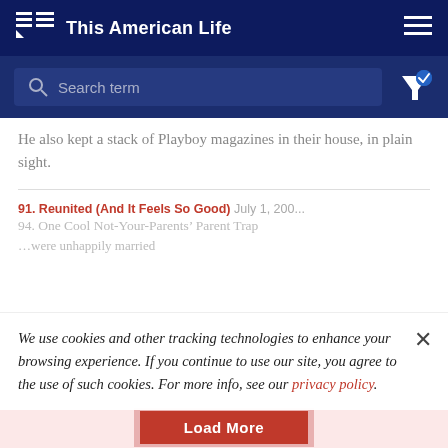This American Life
[Figure (screenshot): Search bar with placeholder text 'Search term' and filter icon with checkmark]
He also kept a stack of Playboy magazines in their house, in plain sight.
91. Reunited (And It Feels So Good) July 1, 200...
94. One Cool Not-Your-Parents' Parent Trap
We use cookies and other tracking technologies to enhance your browsing experience. If you continue to use our site, you agree to the use of such cookies. For more info, see our privacy policy.
Load More